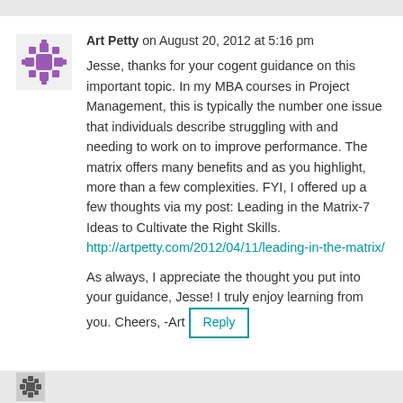Art Petty on August 20, 2012 at 5:16 pm

Jesse, thanks for your cogent guidance on this important topic. In my MBA courses in Project Management, this is typically the number one issue that individuals describe struggling with and needing to work on to improve performance. The matrix offers many benefits and as you highlight, more than a few complexities. FYI, I offered up a few thoughts via my post: Leading in the Matrix-7 Ideas to Cultivate the Right Skills.
http://artpetty.com/2012/04/11/leading-in-the-matrix/

As always, I appreciate the thought you put into your guidance, Jesse! I truly enjoy learning from you. Cheers, -Art